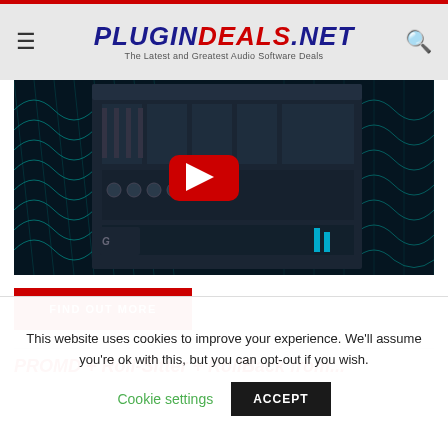PLUGINDEALS.NET — The Latest and Greatest Audio Software Deals
[Figure (screenshot): YouTube video thumbnail showing a synthesizer plugin interface (dark synth panel with teal/cyan grid background) with a large red YouTube play button overlay. Pause bars visible at bottom right.]
FIND OUT MORE
PROMD + Roll-Sitter + RollBack from...
This website uses cookies to improve your experience. We'll assume you're ok with this, but you can opt-out if you wish.
Cookie settings   ACCEPT